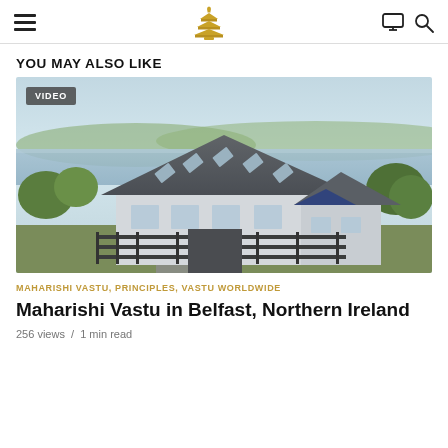Navigation bar with hamburger menu, logo, monitor icon, search icon
YOU MAY ALSO LIKE
[Figure (photo): Aerial/street-level photo of a white house with dark grey pitched roof featuring skylights, surrounded by green trees and a wooden fence, with a lake and hills visible in the background. A 'VIDEO' badge is overlaid in the top-left corner.]
MAHARISHI VASTU, PRINCIPLES, VASTU WORLDWIDE
Maharishi Vastu in Belfast, Northern Ireland
256 views  /  1 min read